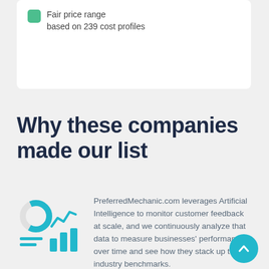[Figure (other): White card with a teal/green rounded square legend marker and text 'Fair price range based on 239 cost profiles']
Why these companies made our list
[Figure (infographic): Teal analytics/charts icon composed of a donut chart, line chart, and bar chart elements]
PreferredMechanic.com leverages Artificial Intelligence to monitor customer feedback at scale, and we continuously analyze that data to measure businesses' performance over time and see how they stack up to industry benchmarks.